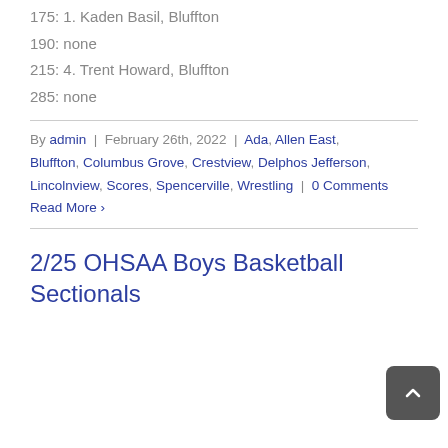175: 1. Kaden Basil, Bluffton
190: none
215: 4. Trent Howard, Bluffton
285: none
By admin | February 26th, 2022 | Ada, Allen East, Bluffton, Columbus Grove, Crestview, Delphos Jefferson, Lincolnview, Scores, Spencerville, Wrestling | 0 Comments
Read More ›
2/25 OHSAA Boys Basketball Sectionals